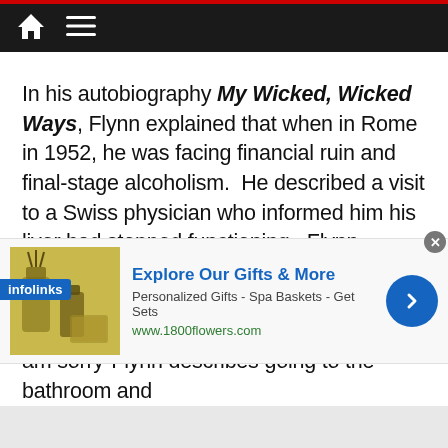Navigation bar with home icon and hamburger menu
In his autobiography My Wicked, Wicked Ways, Flynn explained that when in Rome in 1952, he was facing financial ruin and final-stage alcoholism.  He described a visit to a Swiss physician who informed him his liver had stopped functioning.  Flynn responded. “What happens now?” The Doctor, responded, “You die, maybe not today, maybe not tomorrow, but you die. I am sorry”Flynn describes going to the bathroom and at his reflection. “My eyes looked like as if they
[Figure (screenshot): Infolinks ad label overlay and 1800flowers advertisement banner with gift products image, title 'Explore Our Gifts & More', subtitle 'Personalized Gifts - Spa Baskets - Get Sets', URL www.1800flowers.com, and blue arrow button]